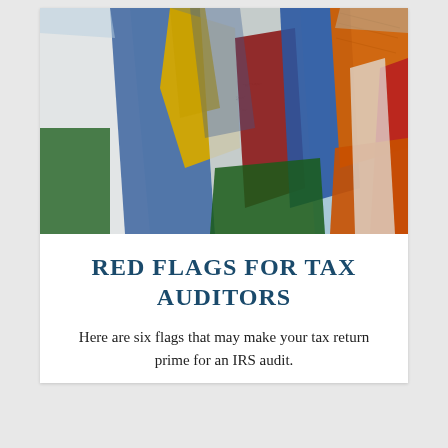[Figure (photo): Colorful Buddhist prayer flags in blue, yellow, green, red, white, and orange hanging diagonally against a light blue sky.]
RED FLAGS FOR TAX AUDITORS
Here are six flags that may make your tax return prime for an IRS audit.